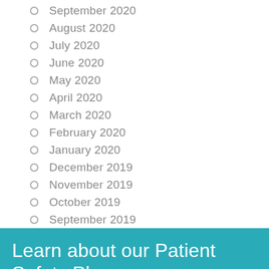September 2020
August 2020
July 2020
June 2020
May 2020
April 2020
March 2020
February 2020
January 2020
December 2019
November 2019
October 2019
September 2019
August 2019
July 2019
Learn about our Patient Safety Plans
March 2019